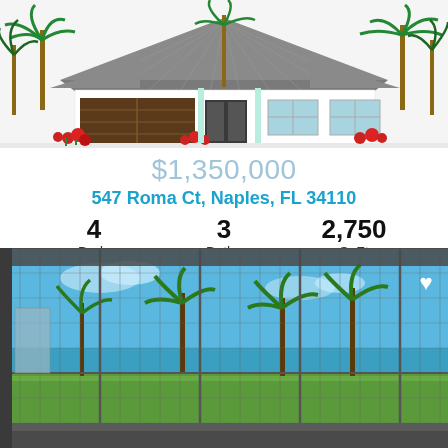[Figure (illustration): Architectural rendering/illustration of a single-story house with a large garage, palm trees, red flowers, and a gray hip roof]
$1,350,000
547 Roma Ct, Naples, FL 34110
4 Beds
3 Baths
2,750 SqFt
Listing Provided By John R Wood Properties
[Figure (photo): Interior view through screened lanai/porch showing palm trees, green lawn, ocean/bay in the distance, blue sky. White heart icon in top right corner.]